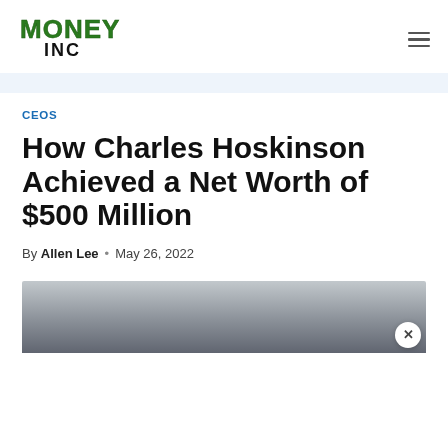Money Inc
CEOS
How Charles Hoskinson Achieved a Net Worth of $500 Million
By Allen Lee · May 26, 2022
[Figure (photo): Photograph of Charles Hoskinson, partially visible at bottom of page with an ad overlay close button]